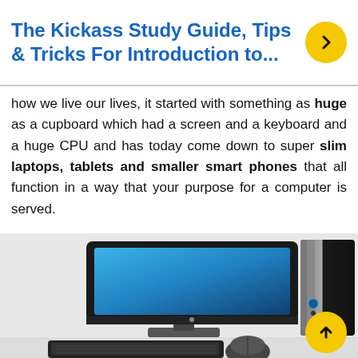The Kickass Study Guide, Tips & Tricks For Introduction to...
how we live our lives, it started with something as huge as a cupboard which had a screen and a keyboard and a huge CPU and has today come down to super slim laptops, tablets and smaller smart phones that all function in a way that your purpose for a computer is served.
[Figure (photo): A desktop computer setup with a widescreen monitor showing a blue screen, a black tower CPU unit to the right, and a keyboard and mouse visible at the bottom.]